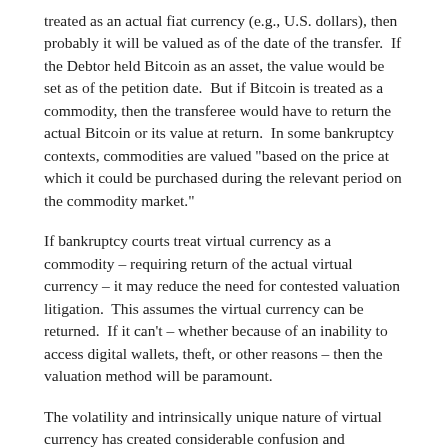treated as an actual fiat currency (e.g., U.S. dollars), then probably it will be valued as of the date of the transfer.  If the Debtor held Bitcoin as an asset, the value would be set as of the petition date.  But if Bitcoin is treated as a commodity, then the transferee would have to return the actual Bitcoin or its value at return.  In some bankruptcy contexts, commodities are valued "based on the price at which it could be purchased during the relevant period on the commodity market."
If bankruptcy courts treat virtual currency as a commodity – requiring return of the actual virtual currency – it may reduce the need for contested valuation litigation.  This assumes the virtual currency can be returned.  If it can't – whether because of an inability to access digital wallets, theft, or other reasons – then the valuation method will be paramount.
The volatility and intrinsically unique nature of virtual currency has created considerable confusion and uncertainty for lenders considering it as a new asset class for collateral.  The My Big Coin decision provides some clarity on how virtual currency may be characterized and treated in court.